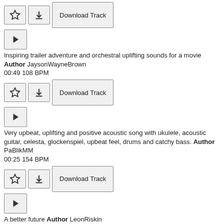Inspiring trailer adventure and orchestral uplifting sounds for a movie Author JaysonWayneBrown 00:49 108 BPM
Very upbeat, uplifting and positive acoustic song with ukulele, acoustic guitar, celesta, glockenspiel, upbeat feel, drums and catchy bass. Author PaBlikMM 00:25 154 BPM
A better future Author LeonRiskin 00:48 118 BPM
Intense brave and orchestral climax music for the war of medieval times Author JaysonWayneBrown 01:24 124 BPM
Enigmatic pop corporate media commercial Author JaysonWayneBrown